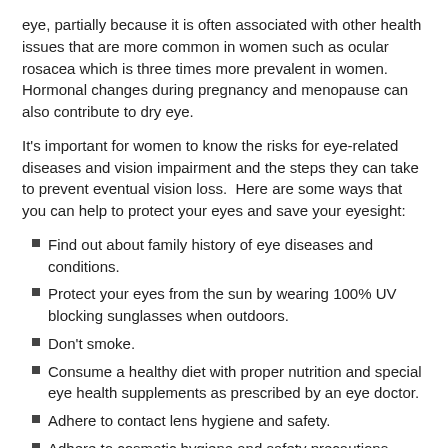eye, partially because it is often associated with other health issues that are more common in women such as ocular rosacea which is three times more prevalent in women.  Hormonal changes during pregnancy and menopause can also contribute to dry eye.
It's important for women to know the risks for eye-related diseases and vision impairment and the steps they can take to prevent eventual vision loss.  Here are some ways that you can help to protect your eyes and save your eyesight:
Find out about family history of eye diseases and conditions.
Protect your eyes from the sun by wearing 100% UV blocking sunglasses when outdoors.
Don't smoke.
Consume a healthy diet with proper nutrition and special eye health supplements as prescribed by an eye doctor.
Adhere to contact lens hygiene and safety.
Adhere to cosmetic hygiene and safety precautions.